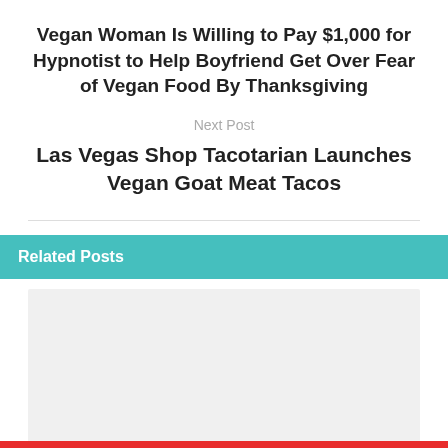Vegan Woman Is Willing to Pay $1,000 for Hypnotist to Help Boyfriend Get Over Fear of Vegan Food By Thanksgiving
Next Post
Las Vegas Shop Tacotarian Launches Vegan Goat Meat Tacos
Related Posts
[Figure (other): Placeholder image area below Related Posts section]